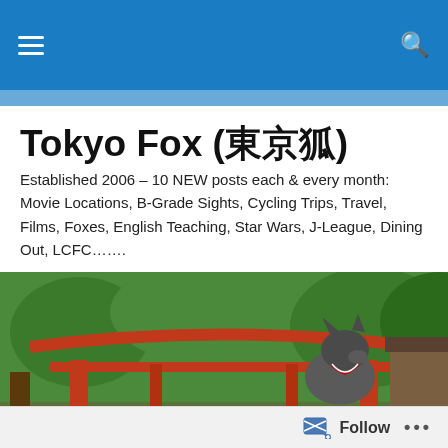Tokyo Fox — navigation bar with hamburger menu and search icon
Tokyo Fox (東京狐)
Established 2006 – 10 NEW posts each & every month: Movie Locations, B-Grade Sights, Cycling Trips, Travel, Films, Foxes, English Teaching, Star Wars, J-League, Dining Out, LCFC…….
[Figure (photo): Hero image showing a red torii gate at a Japanese shrine with a stone fox statue wearing a red bib in the foreground, surrounded by green trees]
Dining Out: Trying A Couple Of Unique Regional Burgers
Follow